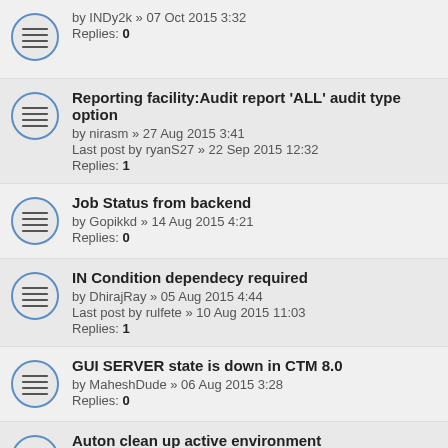by INDy2k » 07 Oct 2015 3:32
Replies: 0
Reporting facility:Audit report 'ALL' audit type option
by nirasm » 27 Aug 2015 3:41
Last post by ryanS27 » 22 Sep 2015 12:32
Replies: 1
Job Status from backend
by Gopikkd » 14 Aug 2015 4:21
Replies: 0
IN Condition dependecy required
by DhirajRay » 05 Aug 2015 4:44
Last post by rulfete » 10 Aug 2015 11:03
Replies: 1
GUI SERVER state is down in CTM 8.0
by MaheshDude » 06 Aug 2015 3:28
Replies: 0
Auton clean up active environment
by nirasm » 13 Jul 2015 9:33
Replies: 0
PostgreSQL database backups.